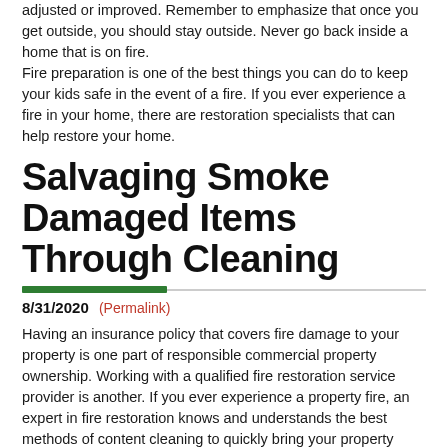adjusted or improved. Remember to emphasize that once you get outside, you should stay outside. Never go back inside a home that is on fire.
Fire preparation is one of the best things you can do to keep your kids safe in the event of a fire. If you ever experience a fire in your home, there are restoration specialists that can help restore your home.
Salvaging Smoke Damaged Items Through Cleaning
8/31/2020 (Permalink)
Having an insurance policy that covers fire damage to your property is one part of responsible commercial property ownership. Working with a qualified fire restoration service provider is another. If you ever experience a property fire, an expert in fire restoration knows and understands the best methods of content cleaning to quickly bring your property back to pre-fire conditions. From dry-cleaning to smoke odor